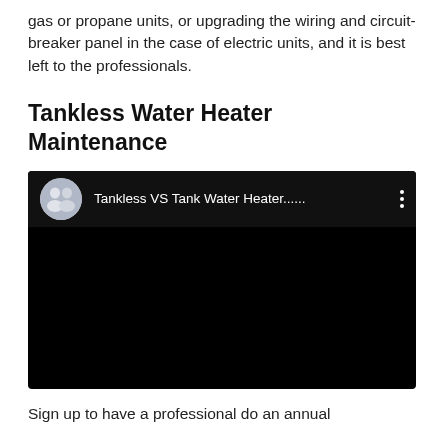gas or propane units, or upgrading the wiring and circuit-breaker panel in the case of electric units, and it is best left to the professionals.
Tankless Water Heater Maintenance
[Figure (screenshot): A video thumbnail/player showing a dark/black screen with a top bar containing a circular avatar of two people and the title 'Tankless VS Tank Water Heater......' with a three-dot menu icon.]
Sign up to have a professional do an annual